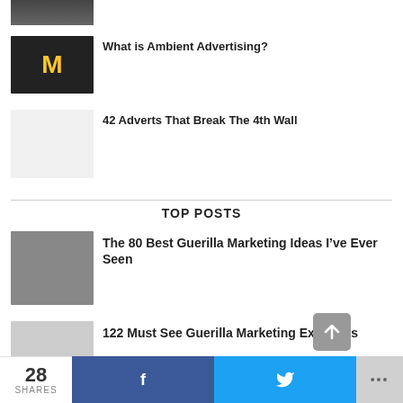[Figure (photo): Dark thumbnail image, partially visible at top]
[Figure (photo): McDonald's sign in dark/night setting]
What is Ambient Advertising?
[Figure (photo): Light gray blank thumbnail]
42 Adverts That Break The 4th Wall
TOP POSTS
[Figure (photo): Guerilla marketing photo thumbnail]
The 80 Best Guerilla Marketing Ideas I’ve Ever Seen
[Figure (photo): Bottom article thumbnail]
122 Must See Guerilla Marketing Examples
28 SHARES  f  🐦  ...